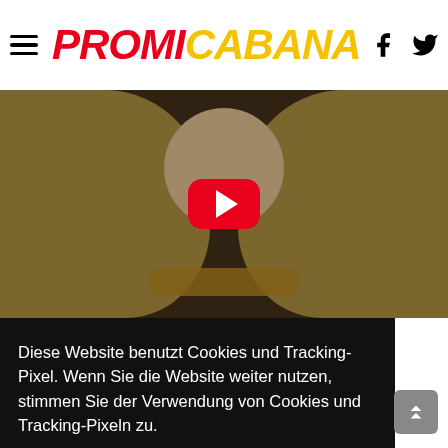PROMICABANA
[Figure (screenshot): Video thumbnail showing a blonde woman with a YouTube play button overlay]
Diese Website benutzt Cookies und Tracking-Pixel. Wenn Sie die Website weiter nutzen, stimmen Sie der Verwendung von Cookies und Tracking-Pixeln zu.
Mehr erfahren
Einverstanden!